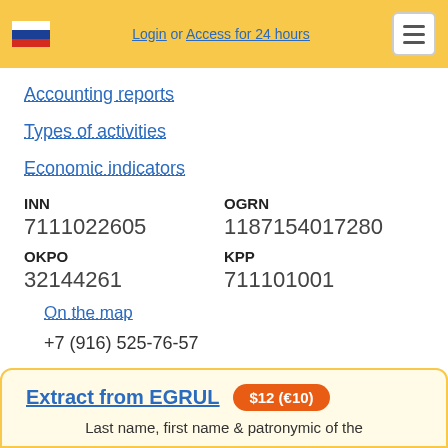Login or Access for 24 hours
Accounting reports
Types of activities
Economic indicators
| INN | OGRN |
| --- | --- |
| 7111022605 | 1187154017280 |
| OKPO | KPP |
| 32144261 | 711101001 |
On the map
+7 (916) 525-76-57
Extract from EGRUL $12 (€10) Last name, first name & patronymic of the